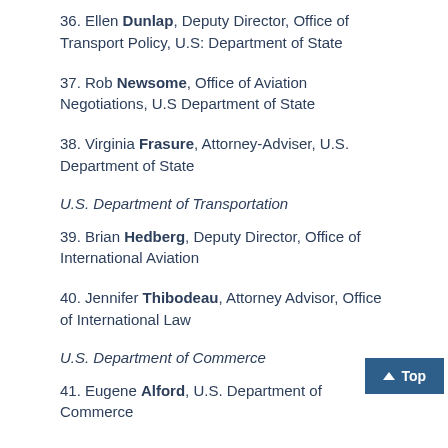36. Ellen Dunlap, Deputy Director, Office of Transport Policy, U.S: Department of State
37. Rob Newsome, Office of Aviation Negotiations, U.S Department of State
38. Virginia Frasure, Attorney-Adviser, U.S. Department of State
U.S. Department of Transportation
39. Brian Hedberg, Deputy Director, Office of International Aviation
40. Jennifer Thibodeau, Attorney Advisor, Office of International Law
U.S. Department of Commerce
41. Eugene Alford, U.S. Department of Commerce